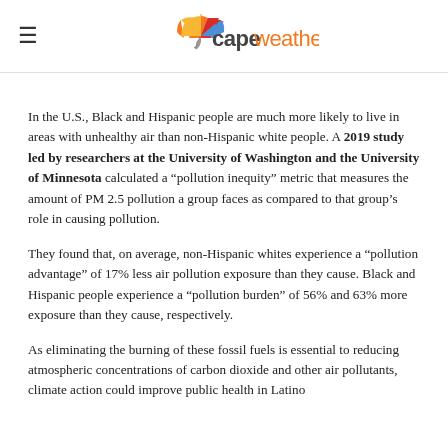capeweather
In the U.S., Black and Hispanic people are much more likely to live in areas with unhealthy air than non-Hispanic white people. A 2019 study led by researchers at the University of Washington and the University of Minnesota calculated a “pollution inequity” metric that measures the amount of PM 2.5 pollution a group faces as compared to that group’s role in causing pollution.
They found that, on average, non-Hispanic whites experience a “pollution advantage” of 17% less air pollution exposure than they cause. Black and Hispanic people experience a “pollution burden” of 56% and 63% more exposure than they cause, respectively.
As eliminating the burning of these fossil fuels is essential to reducing atmospheric concentrations of carbon dioxide and other air pollutants, climate action could improve public health in Latino neighborhoods.